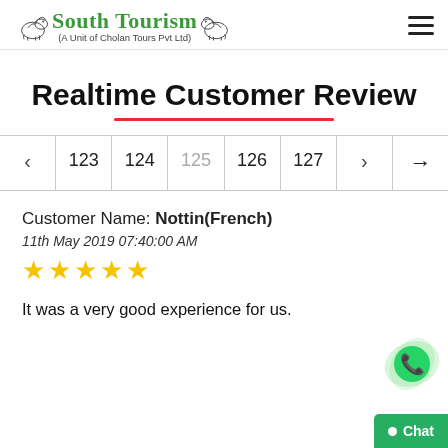South Tourism (A Unit of Cholan Tours Pvt Ltd)
Realtime Customer Review
< 123 124 125 126 127 > →
Customer Name: Nottin(French)
11th May 2019 07:40:00 AM
★★★★★
It was a very good experience for us.